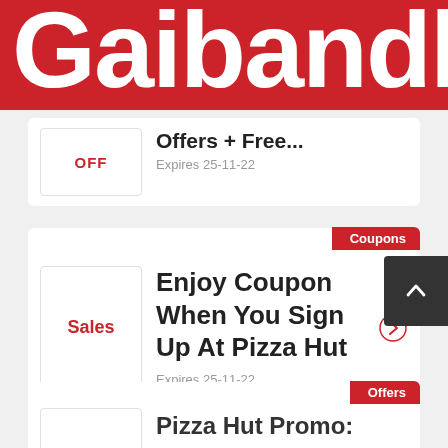Gaibandh
OFF
Offers + Free...
Expires 25-11-22
Coupons
Sales
Enjoy Coupon When You Sign Up At Pizza Hut
Expires 25-11-22
Offers
Pizza Hut Promo: